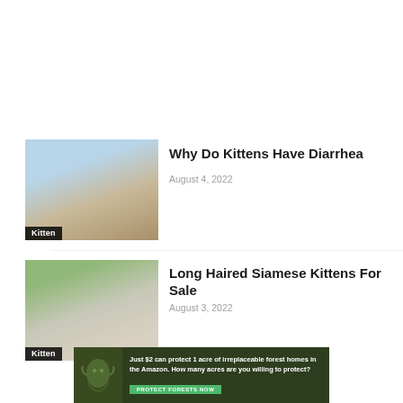[Figure (photo): Kitten sitting next to a blue litter box on a wooden surface with window in background. Label: Kitten]
Why Do Kittens Have Diarrhea
August 4, 2022
[Figure (photo): Siamese cat with blue eyes sitting outdoors with green foliage background. Label: Kitten]
Long Haired Siamese Kittens For Sale
August 3, 2022
[Figure (infographic): Advertisement banner: Just $2 can protect 1 acre of irreplaceable forest homes in the Amazon. How many acres are you willing to protect? PROTECT FORESTS NOW button. Shows sloth in forest.]